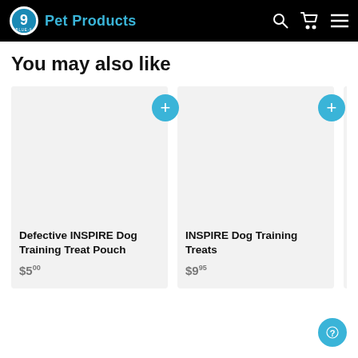Blue-9 Pet Products
You may also like
[Figure (screenshot): Product card: Defective INSPIRE Dog Training Treat Pouch, $5.00 with add button]
[Figure (screenshot): Product card: INSPIRE Dog Training Treats, $9.95 with add button]
[Figure (screenshot): Product card: KLIM (partially visible), $159]